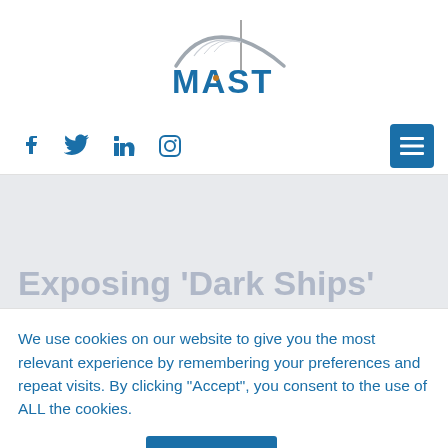[Figure (logo): MAST logo with wave/arch graphic and vertical mast line above the word MAST in blue]
[Figure (infographic): Social media icons row: Facebook, Twitter, LinkedIn, Instagram in blue, with blue hamburger menu button on the right]
Exposing 'Dark Ships'
We use cookies on our website to give you the most relevant experience by remembering your preferences and repeat visits. By clicking “Accept”, you consent to the use of ALL the cookies.
Cookie settings  ACCEPT